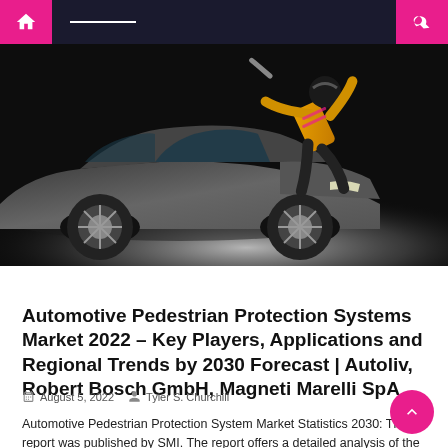[Figure (screenshot): Website navigation bar with home icon (magenta), hamburger menu, and search icon (magenta) on dark background]
[Figure (photo): Dramatic photo of a car with a crash test dummy figure in orange/yellow flying over the hood, dark background]
Protection System
Automotive Pedestrian Protection Systems Market 2022 – Key Players, Applications and Regional Trends by 2030 Forecast | Autoliv, Robert Bosch GmbH, Magneti Marelli SpA
August 5, 2022   Tyler S. Churchill
Automotive Pedestrian Protection System Market Statistics 2030: The report was published by SMI. The report offers a detailed analysis of the Automotive Pedestrian Protection